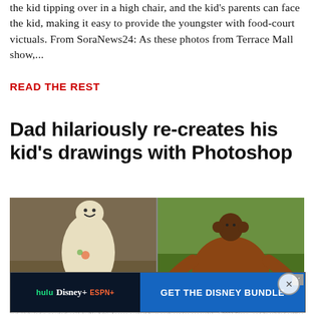the kid tipping over in a high chair, and the kid's parents can face the kid, making it easy to provide the youngster with food-court victuals. From SoraNews24: As these photos from Terrace Mall show,...
READ THE REST
Dad hilariously re-creates his kid's drawings with Photoshop
[Figure (photo): Two-panel image: left panel shows a cream/beige llama or alpaca with a smiley face drawn on it against a brown background; right panel shows a brown orangutan from behind with a small cartoon head drawn on top, against a green grass background.]
[Figure (screenshot): Disney Bundle advertisement banner showing Hulu, Disney+, and ESPN+ logos on the left dark panel and 'GET THE DISNEY BUNDLE' in white text on blue background on the right.]